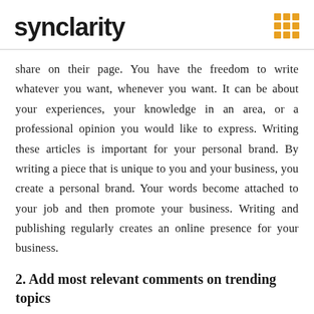synclarity
share on their page. You have the freedom to write whatever you want, whenever you want. It can be about your experiences, your knowledge in an area, or a professional opinion you would like to express. Writing these articles is important for your personal brand. By writing a piece that is unique to you and your business, you create a personal brand. Your words become attached to your job and then promote your business. Writing and publishing regularly creates an online presence for your business.
2. Add most relevant comments on trending topics